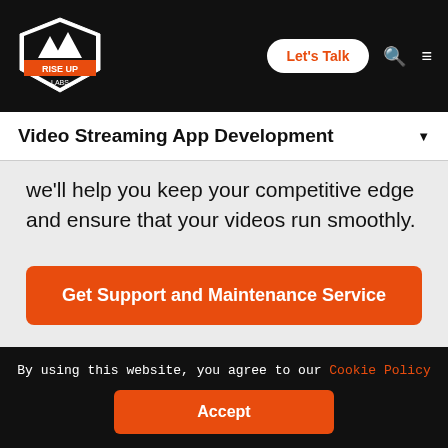[Figure (logo): Rise Up Labs logo — mountain/diamond shield shape with text RISE UP LABS]
Let's Talk  [search icon]  [hamburger menu]
Video Streaming App Development ▼
we'll help you keep your competitive edge and ensure that your videos run smoothly.
Get Support and Maintenance Service
By using this website, you agree to our Cookie Policy  Accept